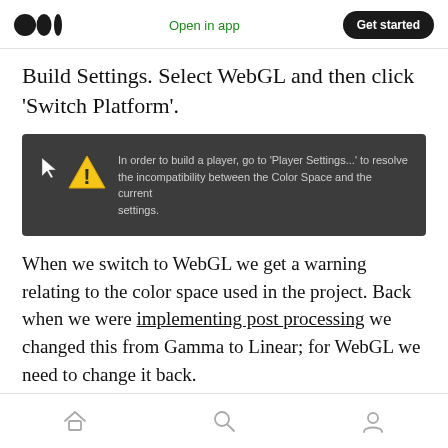Medium logo | Open in app | Get started
Build Settings. Select WebGL and then click 'Switch Platform'.
[Figure (screenshot): Unity warning dialog with yellow triangle warning icon and cursor arrow. Text reads: 'In order to build a player, go to 'Player Settings...' to resolve the incompatibility between the Color Space and the current settings.']
When we switch to WebGL we get a warning relating to the color space used in the project. Back when we were implementing post processing we changed this from Gamma to Linear; for WebGL we need to change it back.
Home | Search | Profile icons